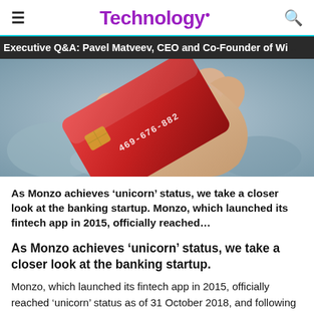Technology.
Executive Q&A: Pavel Matveev, CEO and Co-Founder of Wi...
[Figure (photo): A hand holding a red credit card with numbers 469-676-882 visible, blurred background.]
As Monzo achieves ‘unicorn’ status, we take a closer look at the banking startup. Monzo, which launched its fintech app in 2015, officially reached…
As Monzo achieves ‘unicorn’ status, we take a closer look at the banking startup.
Monzo, which launched its fintech app in 2015, officially reached ‘unicorn’ status as of 31 October 2018, and following its fundraiser on 12 December, its valuation has increased to US$1.5bn. The company